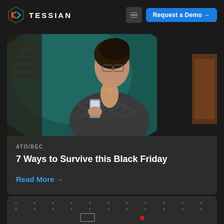TESSIAN
[Figure (photo): Woman with glasses in a chevron-patterned jacket looking at a smartphone, dark teal background, person in suit partially visible on right]
ATO/BEC
7 Ways to Survive this Black Friday
Read More →